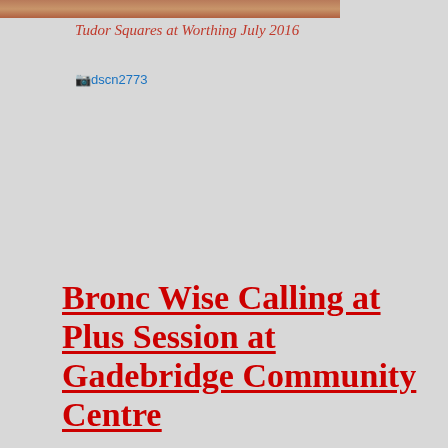[Figure (photo): Partial photo visible at the very top of the page, cropped]
Tudor Squares at Worthing July 2016
[Figure (photo): Broken/missing image placeholder with alt text 'dscn2773']
Bronc Wise Calling at Plus Session at Gadebridge Community Centre